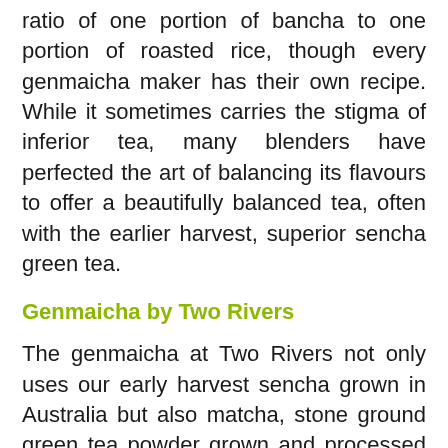ratio of one portion of bancha to one portion of roasted rice, though every genmaicha maker has their own recipe. While it sometimes carries the stigma of inferior tea, many blenders have perfected the art of balancing its flavours to offer a beautifully balanced tea, often with the earlier harvest, superior sencha green tea.
Genmaicha by Two Rivers
The genmaicha at Two Rivers not only uses our early harvest sencha grown in Australia but also matcha, stone ground green tea powder grown and processed in